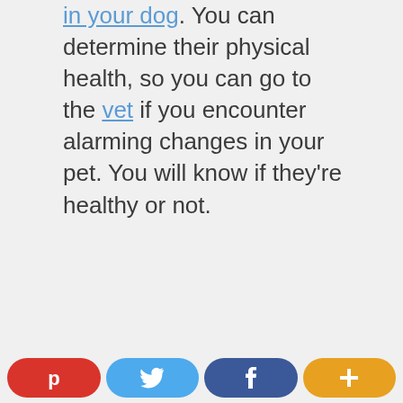in your dog. You can determine their physical health, so you can go to the vet if you encounter alarming changes in your pet. You will know if they're healthy or not.
[Figure (other): Social sharing bar with Pinterest (red), Twitter (blue), Facebook (dark blue), and More/Plus (orange) buttons]